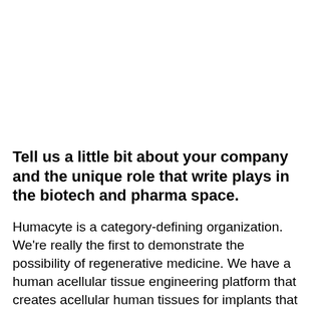Tell us a little bit about your company and the unique role that write plays in the biotech and pharma space.
Humacyte is a category-defining organization. We're really the first to demonstrate the possibility of regenerative medicine. We have a human acellular tissue engineering platform that creates acellular human tissues for implants that once implanted into the patient, they remodel and regenerate into the patient's living tissues. And we've now been at this for about 17 years, and we have almost 500 patients in study across multiple clinical trials that demonstrate the impact of our